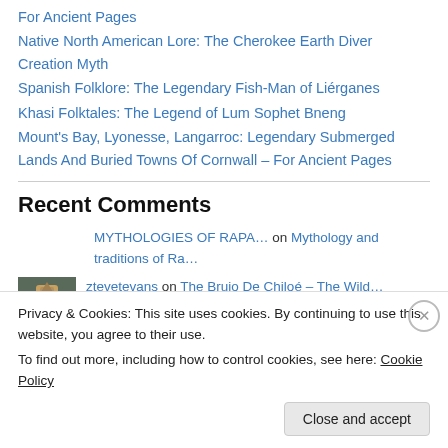For Ancient Pages
Native North American Lore: The Cherokee Earth Diver Creation Myth
Spanish Folklore: The Legendary Fish-Man of Liérganes
Khasi Folktales: The Legend of Lum Sophet Bneng
Mount's Bay, Lyonesse, Langarroc: Legendary Submerged Lands And Buried Towns Of Cornwall – For Ancient Pages
Recent Comments
MYTHOLOGIES OF RAPA… on Mythology and traditions of Ra…
ztevetevans on The Brujo De Chiloé – The Wild…
Privacy & Cookies: This site uses cookies. By continuing to use this website, you agree to their use.
To find out more, including how to control cookies, see here: Cookie Policy
Close and accept